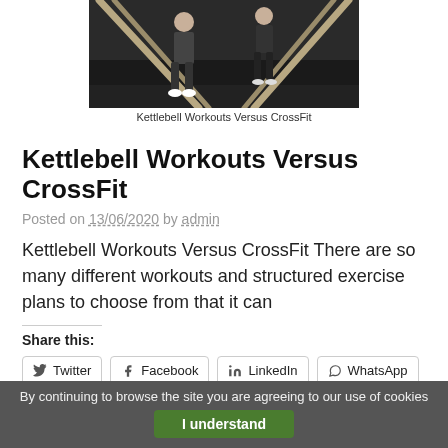[Figure (photo): Two women in gym doing battle rope exercises]
Kettlebell Workouts Versus CrossFit
Kettlebell Workouts Versus CrossFit
Posted on 13/06/2020 by admin
Kettlebell Workouts Versus CrossFit There are so many different workouts and structured exercise plans to choose from that it can
Share this:
Twitter  Facebook  LinkedIn  WhatsApp
By continuing to browse the site you are agreeing to our use of cookies  I understand